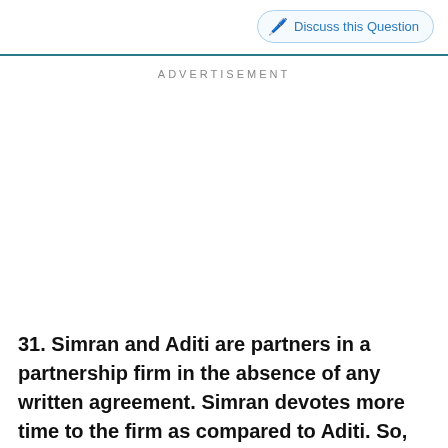Discuss this Question
ADVERTISEMENT
31. Simran and Aditi are partners in a partnership firm in the absence of any written agreement. Simran devotes more time to the firm as compared to Aditi. So, Simran will receive what percentage of commission in